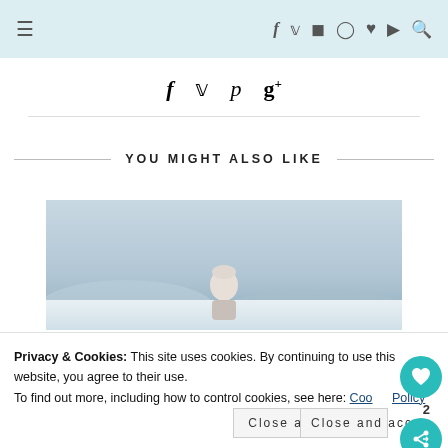Navigation bar with hamburger menu and social icons: f t [instagram] [pinterest] [heart] [youtube] [search]
[Figure (other): Social sharing icons row: Facebook (f), Twitter (bird), Pinterest (p), Google+ (g+)]
YOU MIGHT ALSO LIKE
[Figure (photo): Outdoor winter photo showing a person in a snowy landscape with overcast sky]
Privacy & Cookies: This site uses cookies. By continuing to use this website, you agree to their use.
To find out more, including how to control cookies, see here: Cookie Policy
Close and accept